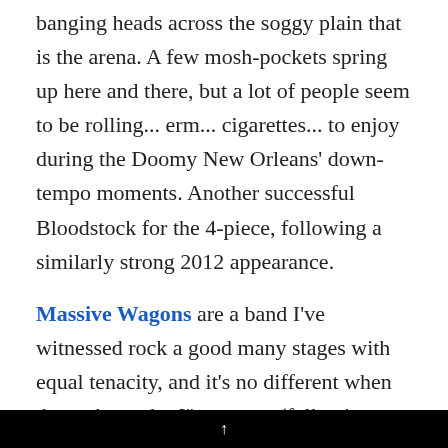banging heads across the soggy plain that is the arena. A few mosh-pockets spring up here and there, but a lot of people seem to be rolling... erm... cigarettes... to enjoy during the Doomy New Orleans' down-tempo moments. Another successful Bloodstock for the 4-piece, following a similarly strong 2012 appearance.
Massive Wagons are a band I've witnessed rock a good many stages with equal tenacity, and it's no different when they take to the Jäger stage (following some Tetris-style
↑